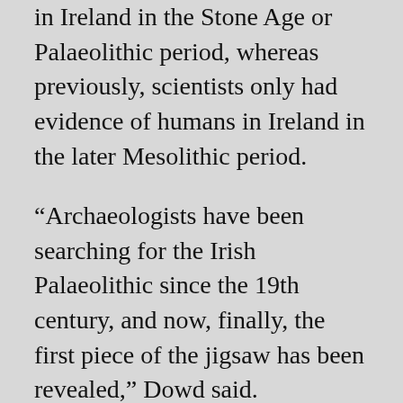in Ireland in the Stone Age or Palaeolithic period, whereas previously, scientists only had evidence of humans in Ireland in the later Mesolithic period.
“Archaeologists have been searching for the Irish Palaeolithic since the 19th century, and now, finally, the first piece of the jigsaw has been revealed,” Dowd said.
Three experts further confirmed that the cut marks on the bone had been made when the bone was fresh, confirming they dated from the same time as the bone.
The results were revealed in a paper published in the journal Quaternary Science Reviews